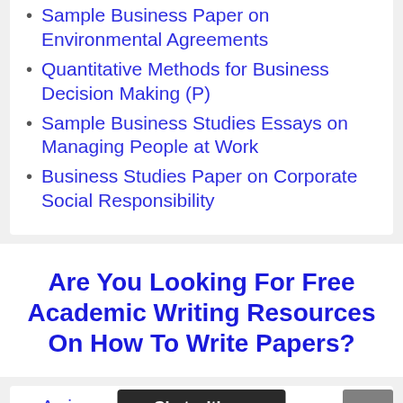Sample Business Paper on Environmental Agreements
Quantitative Methods for Business Decision Making (P)
Sample Business Studies Essays on Managing People at Work
Business Studies Paper on Corporate Social Responsibility
Are You Looking For Free Academic Writing Resources On How To Write Papers?
A simple way to Get Free...